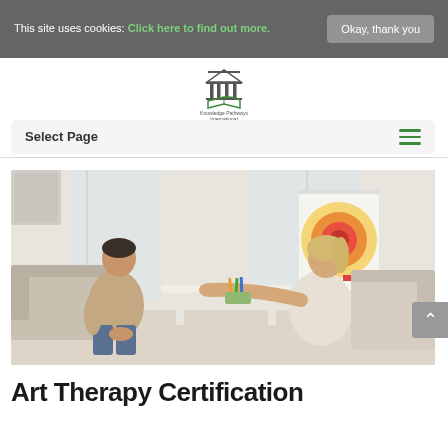This site uses cookies: Click here to find out more. Okay, thank you
[Figure (logo): Knowledge Pathways International logo with a building/pillars icon above an open book, green and gray colors]
Select Page
[Figure (photo): Art therapy session: a man sitting on a sofa looking down at paper, and a woman (therapist) leaning forward over a white table pointing, with a colorful poster on an easel in the background]
Art Therapy Certification